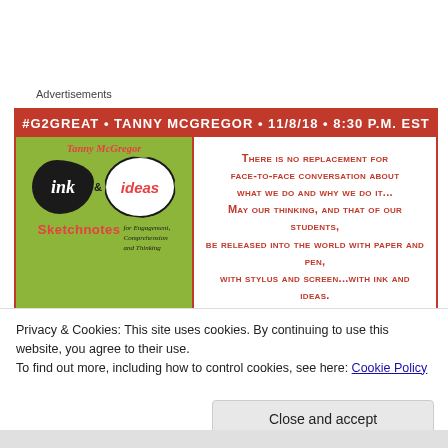Advertisements
[Figure (infographic): Advertisement banner for #G2GREAT Twitter chat featuring Tanny McGregor's book 'Ink & Ideas: Sketchnotes for Engagement, Comprehension and Thinking'. Red header with event details: #G2GREAT • TANNY MCGREGOR • 11/8/18 • 8:30 P.M. EST. Left side shows book cover on green background. Right side shows quote in red text about face-to-face conversation and releasing thinking into the world with ink and ideas.]
Privacy & Cookies: This site uses cookies. By continuing to use this website, you agree to their use.
To find out more, including how to control cookies, see here: Cookie Policy
Close and accept